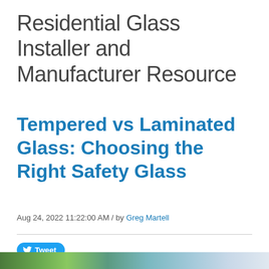Residential Glass Installer and Manufacturer Resource
Tempered vs Laminated Glass: Choosing the Right Safety Glass
Aug 24, 2022 11:22:00 AM / by Greg Martell
[Figure (photo): Exterior photo of a building with glass panels, showing greenery on the left and a waterfront view on the right]